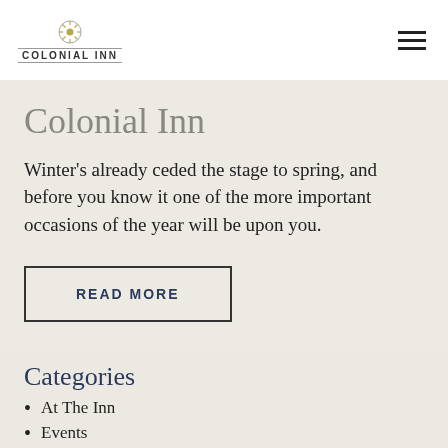The Colonial Inn
Colonial Inn
Winter's already ceded the stage to spring, and before you know it one of the more important occasions of the year will be upon you.
READ MORE
Categories
At The Inn
Events